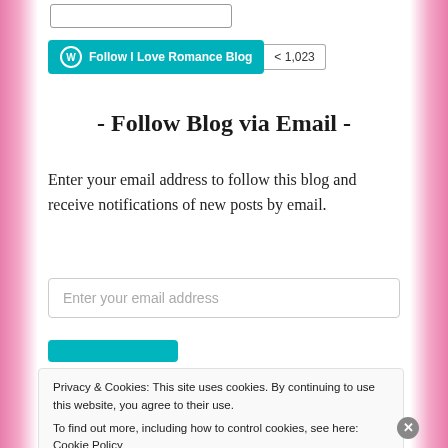[Figure (screenshot): WordPress Follow button with teal background showing 'Follow I Love Romance Blog' text and follower count badge showing 1,023]
- Follow Blog via Email -
Enter your email address to follow this blog and receive notifications of new posts by email.
Enter your email address
Privacy & Cookies: This site uses cookies. By continuing to use this website, you agree to their use.
To find out more, including how to control cookies, see here: Cookie Policy
Close and accept